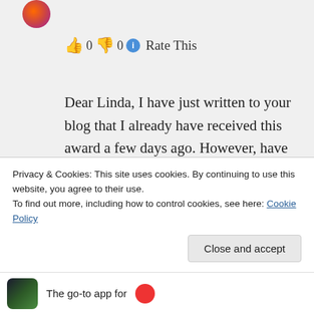[Figure (illustration): Circular avatar icon with colorful radial gradient]
👍 0 👎 0 ℹ Rate This
Dear Linda, I have just written to your blog that I already have received this award a few days ago. However, have my sincere thankfulness for nominating me. It's a great honour for me. And Linda, go on writing your lovely poems and creating digital artwork of a special kind. Thank you so much and many hugs
Didi
Privacy & Cookies: This site uses cookies. By continuing to use this website, you agree to their use.
To find out more, including how to control cookies, see here: Cookie Policy
Close and accept
The go-to app for